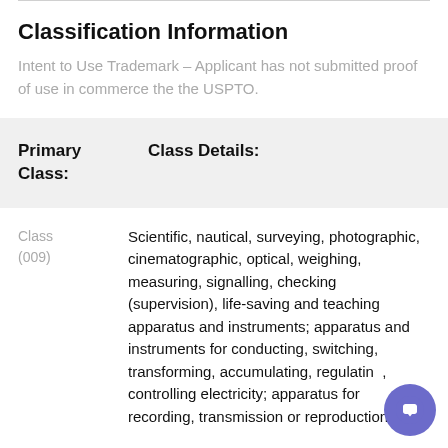Classification Information
Intent to Use Trademark – Applicant has not submitted proof of use in commerce the the USPTO.
| Primary Class: | Class Details: |
| --- | --- |
Class (009)
Scientific, nautical, surveying, photographic, cinematographic, optical, weighing, measuring, signalling, checking (supervision), life-saving and teaching apparatus and instruments; apparatus and instruments for conducting, switching, transforming, accumulating, regulating, controlling electricity; apparatus for recording, transmission or reproduction of